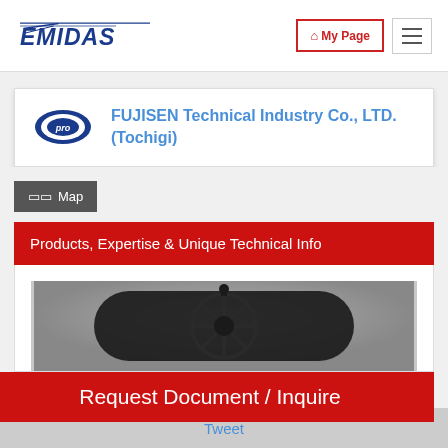EMIDAS | My Page | Navigation menu
FUJISEN Technical Industry Co., LTD. (Tochigi)
Map
Products, Expertise & Unique Technical Info
[Figure (photo): Machinery component photo, dark metallic industrial equipment]
Request Document / Inquire
Tweet